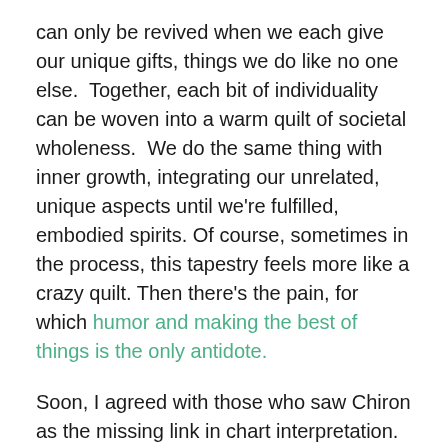can only be revived when we each give our unique gifts, things we do like no one else.  Together, each bit of individuality can be woven into a warm quilt of societal wholeness.  We do the same thing with inner growth, integrating our unrelated, unique aspects until we're fulfilled, embodied spirits. Of course, sometimes in the process, this tapestry feels more like a crazy quilt. Then there's the pain, for which humor and making the best of things is the only antidote.
Soon, I agreed with those who saw Chiron as the missing link in chart interpretation. Chiron was the first astrologer. Modern astrologers have his same mission: to bring out the best in their clients by helping them identify their greatest gifts. Only when we become busy making our unique difference does pain fall into the background. Then we begin to heal ourselves by helping others.